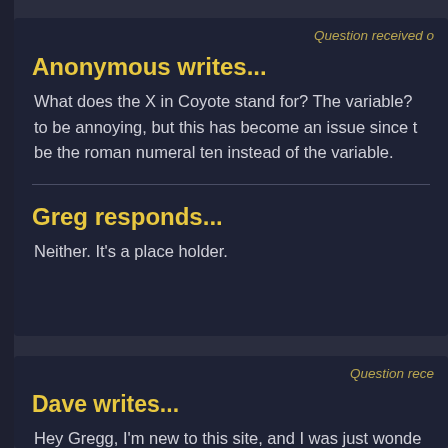Question received o
Anonymous writes...
What does the X in Coyote stand for? The variable? to be annoying, but this has become an issue since t be the roman numeral ten instead of the variable.
Greg responds...
Neither. It's a place holder.
Question rece
Dave writes...
Hey Gregg, I'm new to this site, and I was just wonde about Gargoyles? I mean, I know of Gargoyles, and t there some other Gargoyle show that aired after?

What lies ahead for Gargoyles? Do you plan on brinc